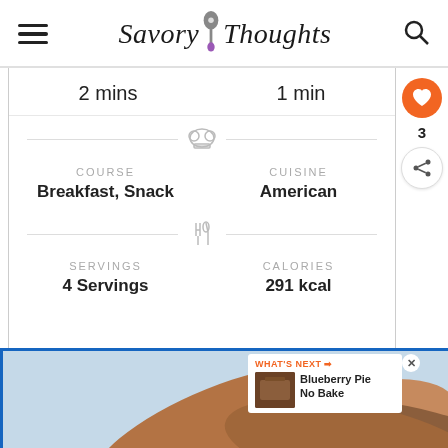Savory Thoughts
2 mins   1 min
COURSE
Breakfast, Snack
CUISINE
American
SERVINGS
4 Servings
CALORIES
291 kcal
[Figure (screenshot): Advertisement banner with 'Call 211 | Visit 211.org 2-1-1' and a What's Next panel showing Blueberry Pie No Bake thumbnail]
WHAT'S NEXT → Blueberry Pie No Bake
Call 211 | Visit 211.org 2·1·1